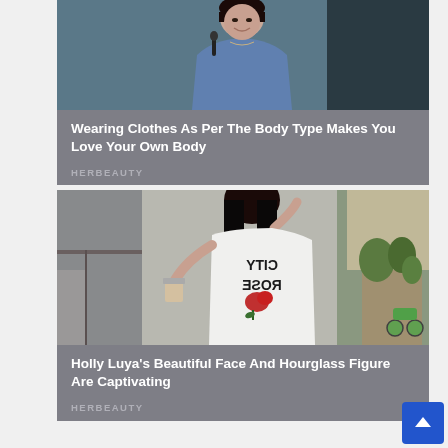[Figure (photo): Photo of a smiling woman in a blue cardigan, with a microphone visible, overlaid with a gray semi-transparent panel showing article title and brand name]
Wearing Clothes As Per The Body Type Makes You Love Your Own Body
HERBEAUTY
[Figure (photo): Photo of a woman in a white long-sleeve shirt with reversed 'CITY ROSE' text on the back, standing near a café window; right side shows an outdoor street scene with plants]
Holly Luya's Beautiful Face And Hourglass Figure Are Captivating
HERBEAUTY